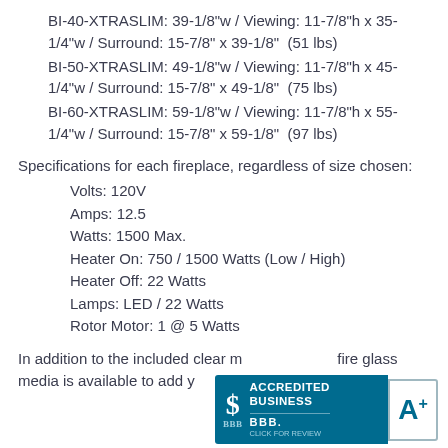BI-40-XTRASLIM: 39-1/8"w / Viewing: 11-7/8"h x 35-1/4"w / Surround: 15-7/8" x 39-1/8"  (51 lbs)
BI-50-XTRASLIM: 49-1/8"w / Viewing: 11-7/8"h x 45-1/4"w / Surround: 15-7/8" x 49-1/8"  (75 lbs)
BI-60-XTRASLIM: 59-1/8"w / Viewing: 11-7/8"h x 55-1/4"w / Surround: 15-7/8" x 59-1/8"  (97 lbs)
Specifications for each fireplace, regardless of size chosen:
Volts: 120V
Amps: 12.5
Watts: 1500 Max.
Heater On: 750 / 1500 Watts (Low / High)
Heater Off: 22 Watts
Lamps: LED / 22 Watts
Rotor Motor: 1 @ 5 Watts
In addition to the included clear m... fire glass media is available to add your own custom look
[Figure (logo): BBB Accredited Business badge with A+ rating]